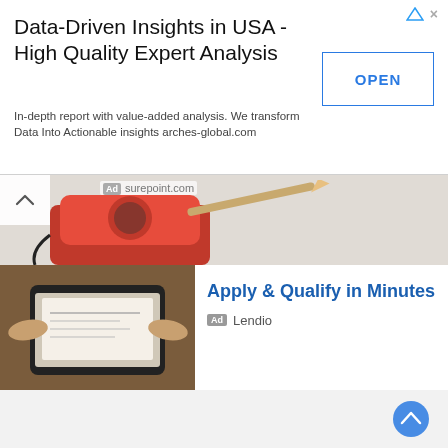[Figure (infographic): Top advertisement banner: 'Data-Driven Insights in USA - High Quality Expert Analysis' with OPEN button]
Data-Driven Insights in USA - High Quality Expert Analysis
In-depth report with value-added analysis. We transform Data Into Actionable insights arches-global.com
[Figure (photo): Partial view of a red rotary telephone with a pencil, scrolled up]
Ad surepoint.com
[Figure (photo): Hands holding a smartphone scanning a check/document]
Apply & Qualify in Minutes
Ad Lendio
[Figure (photo): Compass on parchment/map with LEADERSHIP text]
Formational Leadership Degree
Ad Lancaster Bible College